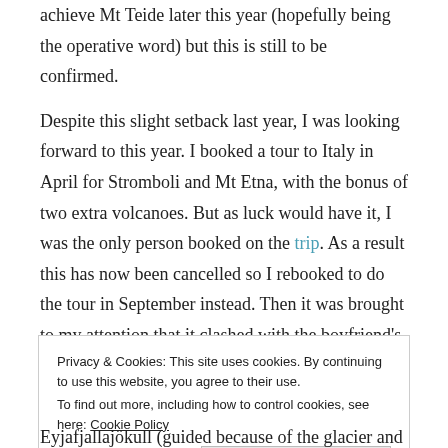achieve Mt Teide later this year (hopefully being the operative word) but this is still to be confirmed.

Despite this slight setback last year, I was looking forward to this year. I booked a tour to Italy in April for Stromboli and Mt Etna, with the bonus of two extra volcanoes. But as luck would have it, I was the only person booked on the trip. As a result this has now been cancelled so I rebooked to do the tour in September instead. Then it was brought to my attention that it clashed with the boyfriend's birthday – how I achieved that I have no idea, but an epic girlfriend fail. Thankfully there was a slot a couple of weeks earlier so the trip has been rebooked (third time lucky) and I'm breathing a sigh of relief and keeping my fingers crossed.
Privacy & Cookies: This site uses cookies. By continuing to use this website, you agree to their use.
To find out more, including how to control cookies, see here: Cookie Policy

Close and accept
Eyjafjallajökull (guided because of the glacier and crevasses)